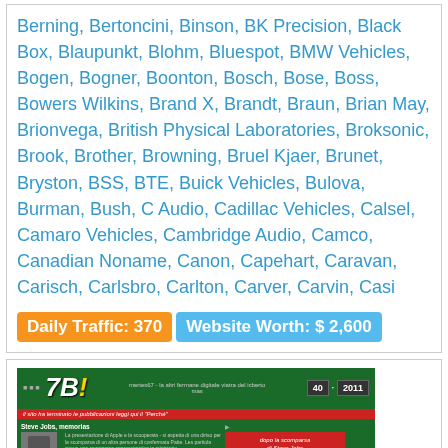Berning, Bertoncini, Binson, BK Precision, Black Box, Blaupunkt, Blohm, Bluespot, BMW Vehicles, Bogen, Bogner, Boonton, Bosch, Bose, Boss, Bowers Wilkins, Brand X, Brandt, Braun, Brian May, Brionvega, British Physical Laboratories, Broksonic, Brook, Brother, Browning, Bruel Kjaer, Brunet, Bryston, BSS, BTE, Buick Vehicles, Bulova, Burman, Bush, C Audio, Cadillac Vehicles, Calsel, Camaro Vehicles, Cambridge Audio, Camco, Canadian Noname, Canon, Capehart, Caravan, Carisch, Carlsbro, Carlton, Carver, Carvin, Casi
Daily Traffic: 370  Website Worth: $ 2,600
[Figure (screenshot): Screenshot of a website called '7B!' (7bit), which appears to be an Italian digital blog. The site has a dark green background with the '7B!' logo in white italic script. The page shows a post about Steve Jobs, with a small photo of him on the left and Italian text. A red box on the right reads about Steve Jobs' disappearance and the site ending publications. A date counter shows '40 2011'.]